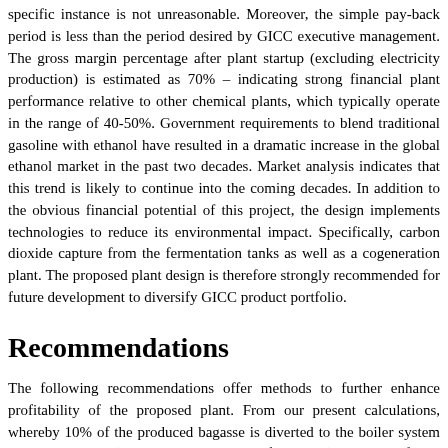specific instance is not unreasonable. Moreover, the simple pay-back period is less than the period desired by GICC executive management. The gross margin percentage after plant startup (excluding electricity production) is estimated as 70% – indicating strong financial plant performance relative to other chemical plants, which typically operate in the range of 40-50%. Government requirements to blend traditional gasoline with ethanol have resulted in a dramatic increase in the global ethanol market in the past two decades. Market analysis indicates that this trend is likely to continue into the coming decades. In addition to the obvious financial potential of this project, the design implements technologies to reduce its environmental impact. Specifically, carbon dioxide capture from the fermentation tanks as well as a cogeneration plant. The proposed plant design is therefore strongly recommended for future development to diversify GICC product portfolio.
Recommendations
The following recommendations offer methods to further enhance profitability of the proposed plant. From our present calculations, whereby 10% of the produced bagasse is diverted to the boiler system to produce steam (in addition to lignin and field trash), 163 MW of